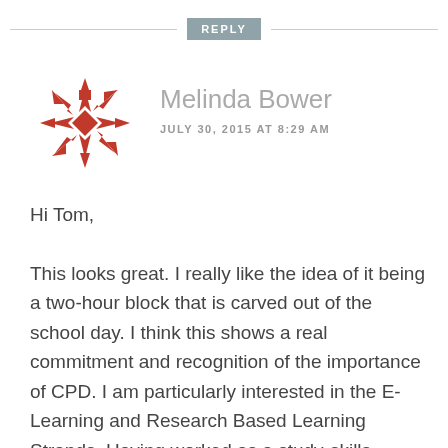REPLY
[Figure (illustration): Decorative snowflake/quilt pattern avatar in dark red/maroon color]
Melinda Bower
JULY 30, 2015 AT 8:29 AM
Hi Tom,

This looks great. I really like the idea of it being a two-hour block that is carved out of the school day. I think this shows a real commitment and recognition of the importance of CPD. I am particularly interested in the E-Learning and Research Based Learning Strands. Having worked as a study-skills workshop designer and